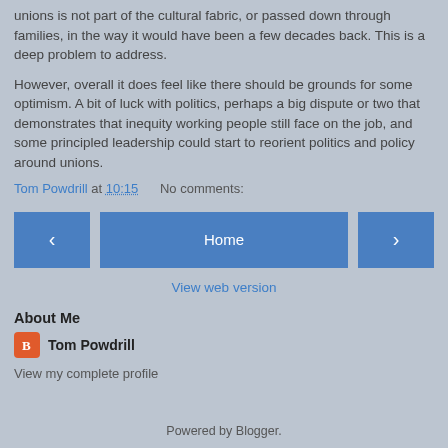unions is not part of the cultural fabric, or passed down through families, in the way it would have been a few decades back. This is a deep problem to address.
However, overall it does feel like there should be grounds for some optimism. A bit of luck with politics, perhaps a big dispute or two that demonstrates that inequity working people still face on the job, and some principled leadership could start to reorient politics and policy around unions.
Tom Powdrill at 10:15    No comments:
[Figure (other): Navigation buttons: left arrow, Home, right arrow]
View web version
About Me
Tom Powdrill
View my complete profile
Powered by Blogger.